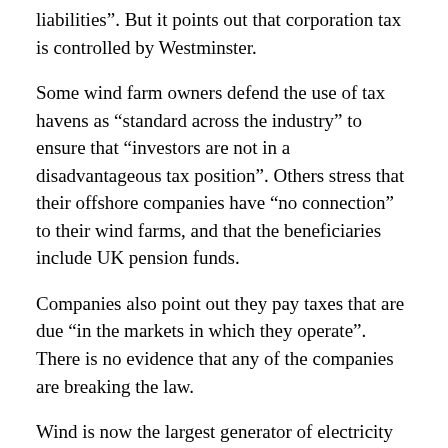liabilities". But it points out that corporation tax is controlled by Westminster.
Some wind farm owners defend the use of tax havens as “standard across the industry” to ensure that “investors are not in a disadvantageous tax position”. Others stress that their offshore companies have “no connection” to their wind farms, and that the beneficiaries include UK pension funds.
Companies also point out they pay taxes that are due “in the markets in which they operate”. There is no evidence that any of the companies are breaking the law.
Wind is now the largest generator of electricity in Scotland, with a massive nine gigawatts of power installed over the last 20 years. On windy days, it can provide all the electricity the country needs.
It is seen by many as the industry that is ousting North Sea oil as the economy’s dominant energy supplier.